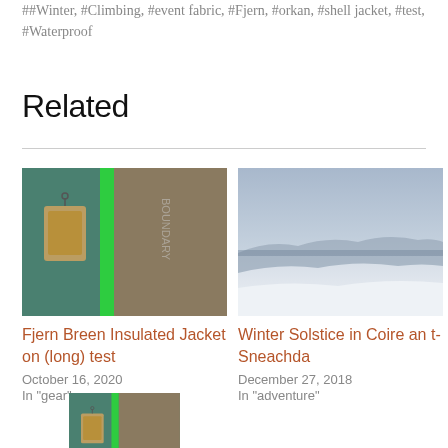##Winter, #Climbing, #event fabric, #Fjern, #orkan, #shell jacket, #test, #Waterproof
Related
[Figure (photo): Close-up photo of a teal/green insulated jacket with a hang tag visible, showing the brand logo]
Fjern Breen Insulated Jacket on (long) test
October 16, 2020
In "gear"
[Figure (photo): Winter mountain landscape photo showing snow-covered slopes and a blue-grey sky over distant hills]
Winter Solstice in Coire an t-Sneachda
December 27, 2018
In "adventure"
[Figure (photo): Partial/cropped close-up of a teal insulated jacket with hang tag, same as first image]